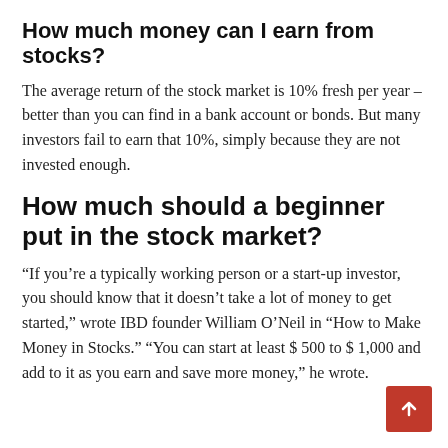How much money can I earn from stocks?
The average return of the stock market is 10% fresh per year – better than you can find in a bank account or bonds. But many investors fail to earn that 10%, simply because they are not invested enough.
How much should a beginner put in the stock market?
“If you’re a typically working person or a start-up investor, you should know that it doesn’t take a lot of money to get started,” wrote IBD founder William O’Neil in “How to Make Money in Stocks.” “You can start at least $ 500 to $ 1,000 and add to it as you earn and save more money,” he wrote.